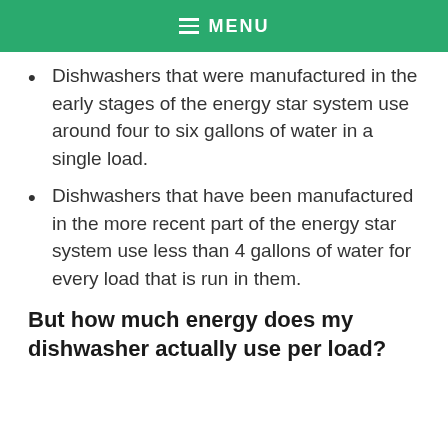≡ MENU
Dishwashers that were manufactured in the early stages of the energy star system use around four to six gallons of water in a single load.
Dishwashers that have been manufactured in the more recent part of the energy star system use less than 4 gallons of water for every load that is run in them.
But how much energy does my dishwasher actually use per load?